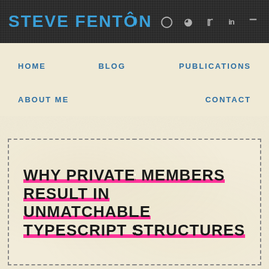STEVE FENTON
HOME
BLOG
PUBLICATIONS
ABOUT ME
CONTACT
WHY PRIVATE MEMBERS RESULT IN UNMATCHABLE TYPESCRIPT STRUCTURES